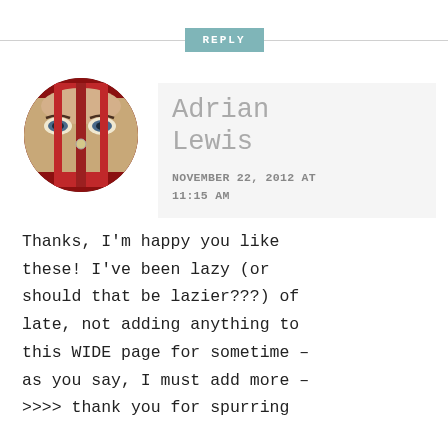REPLY
[Figure (photo): Circular avatar photo of Adrian Lewis showing eyes peeking through a red door/frame]
Adrian Lewis
NOVEMBER 22, 2012 AT 11:15 AM
Thanks, I'm happy you like these! I've been lazy (or should that be lazier???) of late, not adding anything to this WIDE page for sometime – as you say, I must add more – >>>> thank you for spurring